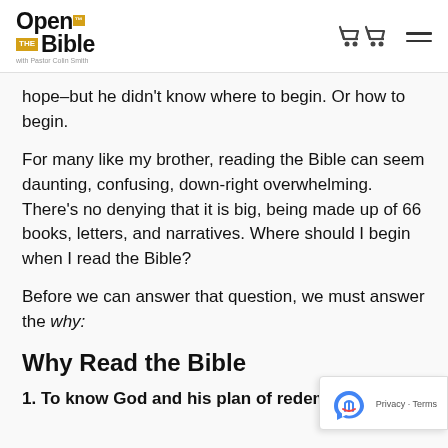Open the Bible with Pastor Colin Smith
hope–but he didn't know where to begin. Or how to begin.
For many like my brother, reading the Bible can seem daunting, confusing, down-right overwhelming. There's no denying that it is big, being made up of 66 books, letters, and narratives. Where should I begin when I read the Bible?
Before we can answer that question, we must answer the why:
Why Read the Bible
1. To know God and his plan of redemption...